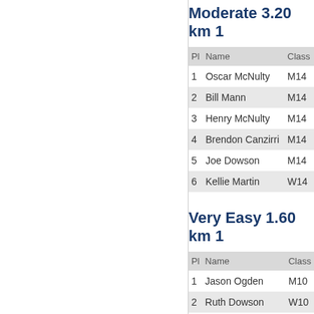Moderate 3.20 km 1
| Pl | Name | Class |
| --- | --- | --- |
| 1 | Oscar McNulty | M14 |
| 2 | Bill Mann | M14 |
| 3 | Henry McNulty | M14 |
| 4 | Brendon Canzirri | M14 |
| 5 | Joe Dowson | M14 |
| 6 | Kellie Martin | W14 |
Very Easy 1.60 km 1
| Pl | Name | Class |
| --- | --- | --- |
| 1 | Jason Ogden | M10 |
| 2 | Ruth Dowson | W10 |
| 3 | James O'Loughlin | M10 |
Moderate 3.20 km 1